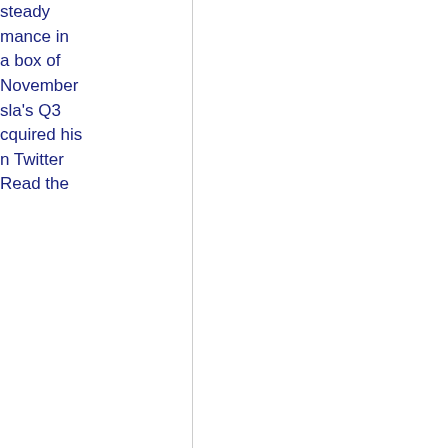steady performance in a box of November sla's Q3 cquired his n Twitter Read the
uction.
d out over 55 years of building der toured r marks the aker's 737 gesSource: ing World